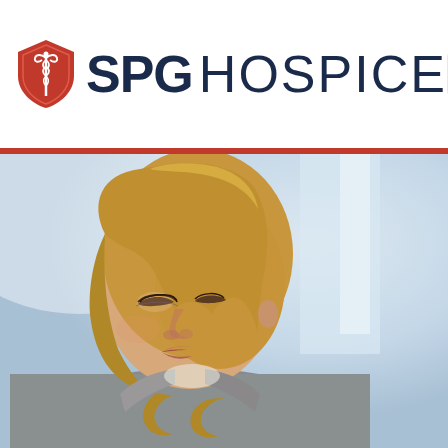SPG HOSPICE
[Figure (photo): A young woman with blonde hair pulled back, looking downward with a pensive expression, wearing a grey jacket. Background is blurred light blue and white tones, suggesting an indoor setting.]